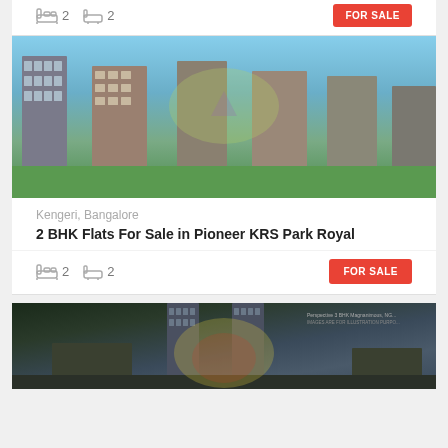[Figure (other): Top strip with bedroom and bathroom icons showing 2 and 2, and FOR SALE red button (partially visible at top)]
[Figure (photo): Aerial/ground render of Pioneer KRS Park Royal apartment complex in Kengeri Bangalore, multi-storey residential buildings with landscape, watermark overlay]
Kengeri, Bangalore
2 BHK Flats For Sale in Pioneer KRS Park Royal
[Figure (other): Card footer with bedroom icon 2, bathroom icon 2, and FOR SALE red button]
[Figure (photo): High-rise tower apartment complex aerial render, tall modern glass towers in urban area, watermark overlay, partially visible at bottom of page]